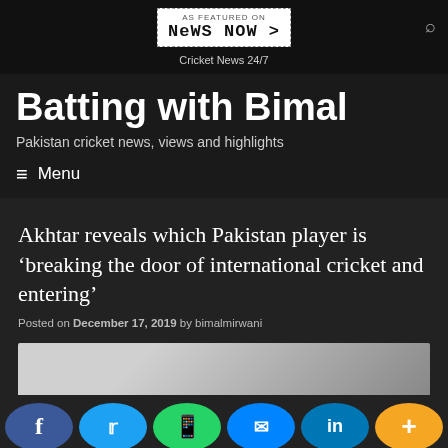AS FEATURED ON NEWS NOW > | Cricket News 24/7
Batting with Bimal
Pakistan cricket news, views and highlights
≡ Menu
Akhtar reveals which Pakistan player is 'breaking the door of international cricket and entering'
Posted on December 17, 2019 by bimalmirwani
[Figure (photo): Photo of a person, partially visible at bottom of page]
f  Twitter  WhatsApp  Messenger  in  +